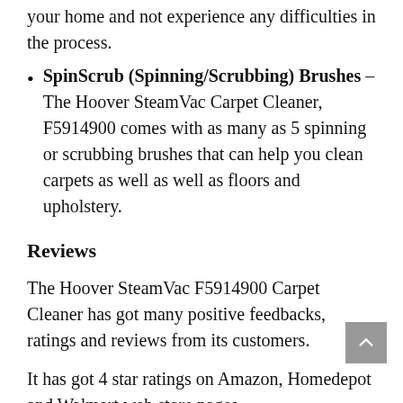your home and not experience any difficulties in the process.
SpinScrub (Spinning/Scrubbing) Brushes – The Hoover SteamVac Carpet Cleaner, F5914900 comes with as many as 5 spinning or scrubbing brushes that can help you clean carpets as well as well as floors and upholstery.
Reviews
The Hoover SteamVac F5914900 Carpet Cleaner has got many positive feedbacks, ratings and reviews from its customers.
It has got 4 star ratings on Amazon, Homedepot and Walmart web store pages